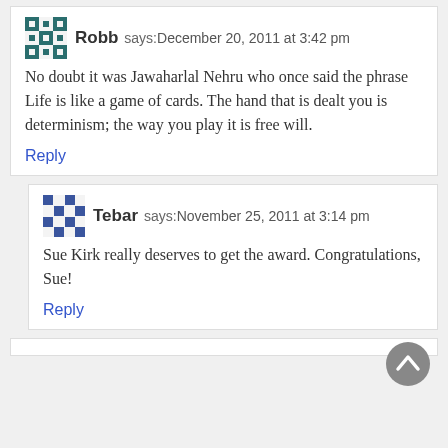Robb says: December 20, 2011 at 3:42 pm
No doubt it was Jawaharlal Nehru who once said the phrase Life is like a game of cards. The hand that is dealt you is determinism; the way you play it is free will.
Reply
Tebar says: November 25, 2011 at 3:14 pm
Sue Kirk really deserves to get the award. Congratulations, Sue!
Reply